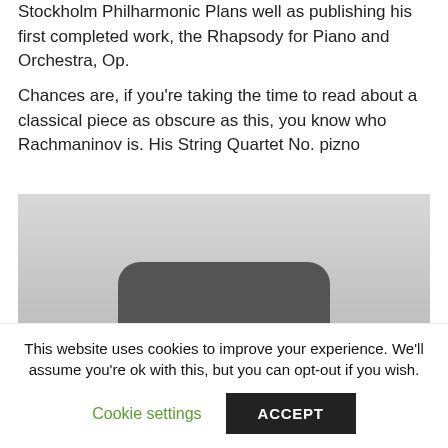Stockholm Philharmonic Plans well as publishing his first completed work, the Rhapsody for Piano and Orchestra, Op.
Chances are, if you're taking the time to read about a classical piece as obscure as this, you know who Rachmaninov is. His String Quartet No. pizno
[Figure (photo): Grayscale image showing a dark rounded rectangular device (possibly a speaker or audio device) with small circular dots/buttons, against a light gray background.]
This website uses cookies to improve your experience. We'll assume you're ok with this, but you can opt-out if you wish.
Cookie settings
ACCEPT